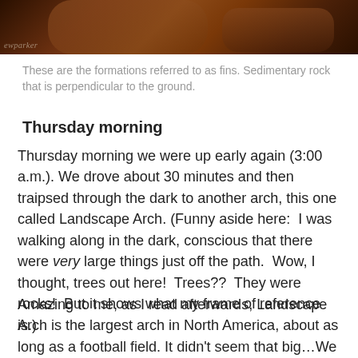[Figure (photo): A photograph of rock formations (fins) - sedimentary rock in warm brown/orange tones, with a watermark 'ewparker' in the lower left corner. The image is cropped showing the top portion.]
These are the formations referred to as fins. Sedimentary rock that is perpendicular to the ground.
Thursday morning
Thursday morning we were up early again (3:00 a.m.). We drove about 30 minutes and then traipsed through the dark to another arch, this one called Landscape Arch. (Funny aside here:  I was walking along in the dark, conscious that there were very large things just off the path.  Wow, I thought, trees out here!  Trees??  They were rocks!  But it shows what my frame of reference is.)
Amazing to me, as I read afterwards, Landscape Arch is the largest arch in North America, about as long as a football field. It didn't seem that big…We lit it again with